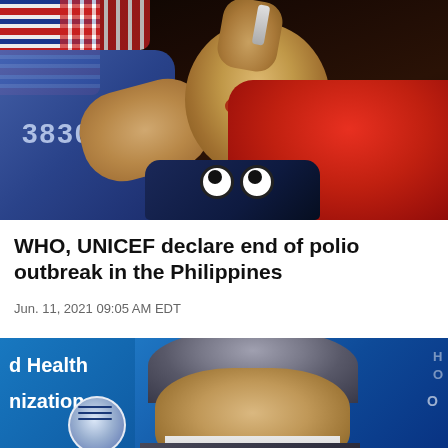[Figure (photo): A baby being administered oral polio vaccine drops, held by a person in a red shirt, with a UN-uniformed health worker giving the drops. Baby is wearing a dark outfit with cartoon eyes.]
WHO, UNICEF declare end of polio outbreak in the Philippines
Jun. 11, 2021 09:05 AM EDT
[Figure (photo): A man standing in front of a World Health Organization (WHO) sign/banner. Partial text visible: 'd Health', 'nization' and WHO logo. The man has grey-brown hair and is wearing a suit.]